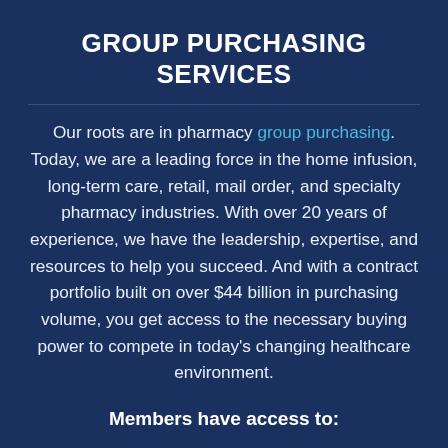GROUP PURCHASING SERVICES
Our roots are in pharmacy group purchasing. Today, we are a leading force in the home infusion, long-term care, retail, mail order, and specialty pharmacy industries. With over 20 years of experience, we have the leadership, expertise, and resources to help you succeed. And with a contract portfolio built on over $44 billion in purchasing volume, you get access to the necessary buying power to compete in today's changing healthcare environment.
Members have access to: